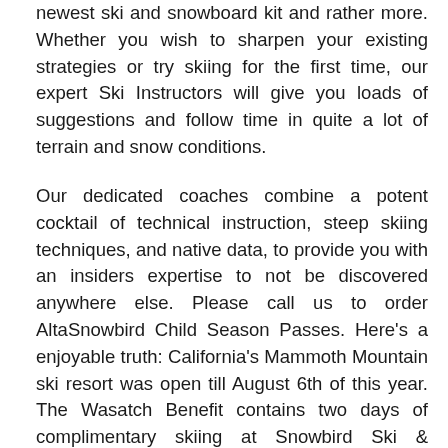newest ski and snowboard kit and rather more. Whether you wish to sharpen your existing strategies or try skiing for the first time, our expert Ski Instructors will give you loads of suggestions and follow time in quite a lot of terrain and snow conditions.
Our dedicated coaches combine a potent cocktail of technical instruction, steep skiing techniques, and native data, to provide you with an insiders expertise to not be discovered anywhere else. Please call us to order AltaSnowbird Child Season Passes. Here's a enjoyable truth: California's Mammoth Mountain ski resort was open till August 6th of this year. The Wasatch Benefit contains two days of complimentary skiing at Snowbird Ski & Summer time Resort, Solitude, and Deer Valley Resort, with the following blackout dates: Dec.